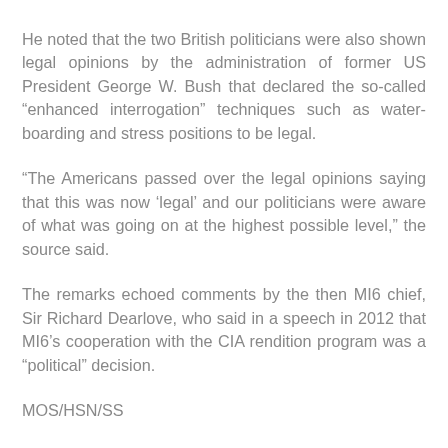He noted that the two British politicians were also shown legal opinions by the administration of former US President George W. Bush that declared the so-called “enhanced interrogation” techniques such as water-boarding and stress positions to be legal.
“The Americans passed over the legal opinions saying that this was now ‘legal’ and our politicians were aware of what was going on at the highest possible level,” the source said.
The remarks echoed comments by the then MI6 chief, Sir Richard Dearlove, who said in a speech in 2012 that MI6’s cooperation with the CIA rendition program was a “political” decision.
MOS/HSN/SS